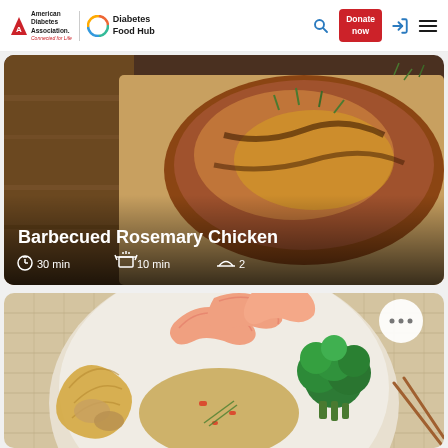American Diabetes Association | Diabetes Food Hub — navigation header with search, Donate now button, login, and menu icons
[Figure (photo): Hero image of barbecued rosemary chicken on a plate, with text overlay showing title 'Barbecued Rosemary Chicken', prep time 30 min, cook time 10 min, and servings 2]
Barbecued Rosemary Chicken
30 min   10 min   2
[Figure (photo): Recipe card image showing a bowl with shrimp, noodles, broccoli and mixed stir-fry ingredients, with a three-dot menu icon in the upper right]